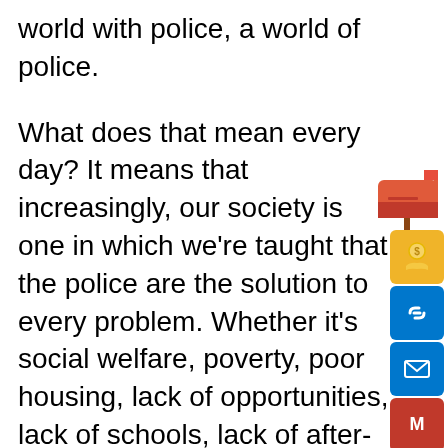world with police, a world of police.
What does that mean every day? It means that increasingly, our society is one in which we're taught that the police are the solution to every problem. Whether it's social welfare, poverty, poor housing, lack of opportunities, lack of schools, lack of after-school activities, you send the police. Mental health crises, send the police. This is how our society has been built. We live in a society that's increasingly built on this assumption that the police are the only solution. Part of what that means for the task of police evolution is to really rethink what a new society would look like and here, borrowing, of course, the phrase from Angela Davis, who speaks of prisons becoming obsolete; we're talking about
[Figure (illustration): Mailbox icon (red) with a stick/post, positioned to the right side of the page]
[Figure (illustration): Social share buttons column: money/donation icon (yellow/gold), chain link icon (blue), email envelope icon (blue), Gmail icon (red), Facebook icon (blue)]